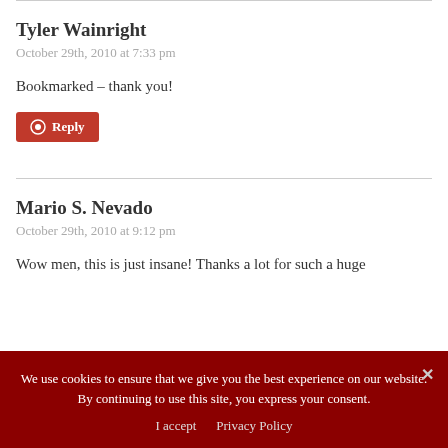Tyler Wainright
October 29th, 2010 at 7:33 pm
Bookmarked – thank you!
Reply
Mario S. Nevado
October 29th, 2010 at 9:12 pm
Wow men, this is just insane! Thanks a lot for such a huge
We use cookies to ensure that we give you the best experience on our website. By continuing to use this site, you express your consent.
I accept   Privacy Policy